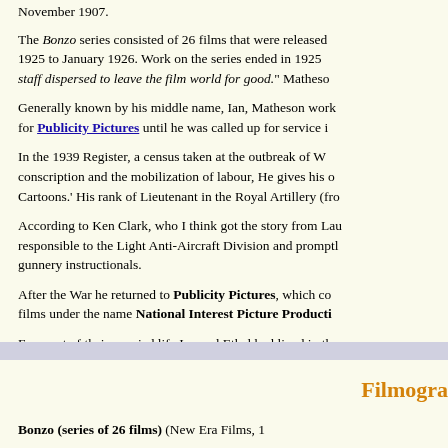November 1907.
The Bonzo series consisted of 26 films that were released 1925 to January 1926. Work on the series ended in 1925 staff dispersed to leave the film world for good." Matheson
Generally known by his middle name, Ian, Matheson work for Publicity Pictures until he was called up for service in
In the 1939 Register, a census taken at the outbreak of W conscription and the mobilization of labour, He gives his o Cartoons.' His rank of Lieutenant in the Royal Artillery (fro
According to Ken Clark, who I think got the story from Lau responsible to the Light Anti-Aircraft Division and promptl gunnery instructionals.
After the War he returned to Publicity Pictures, which co films under the name National Interest Picture Producti
For most of their married life Ian and Ethel had lived in the moved to a flat in Dorset Street, W1, near Marble Arch, wh
Alastair Ian Matheson died in early 1968, a few months af
Filmography
Bonzo (series of 26 films) (New Era Films, 1